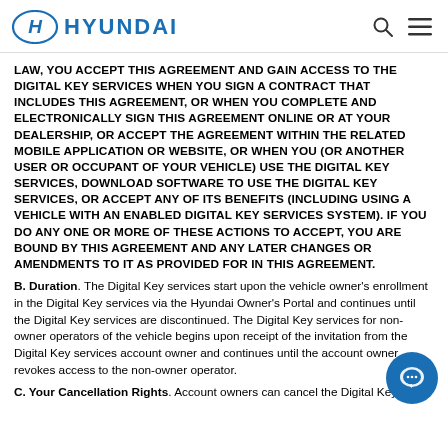HYUNDAI
LAW, YOU ACCEPT THIS AGREEMENT AND GAIN ACCESS TO THE DIGITAL KEY SERVICES WHEN YOU SIGN A CONTRACT THAT INCLUDES THIS AGREEMENT, OR WHEN YOU COMPLETE AND ELECTRONICALLY SIGN THIS AGREEMENT ONLINE OR AT YOUR DEALERSHIP, OR ACCEPT THE AGREEMENT WITHIN THE RELATED MOBILE APPLICATION OR WEBSITE, OR WHEN YOU (OR ANOTHER USER OR OCCUPANT OF YOUR VEHICLE) USE THE DIGITAL KEY SERVICES, DOWNLOAD SOFTWARE TO USE THE DIGITAL KEY SERVICES, OR ACCEPT ANY OF ITS BENEFITS (INCLUDING USING A VEHICLE WITH AN ENABLED DIGITAL KEY SERVICES SYSTEM). IF YOU DO ANY ONE OR MORE OF THESE ACTIONS TO ACCEPT, YOU ARE BOUND BY THIS AGREEMENT AND ANY LATER CHANGES OR AMENDMENTS TO IT AS PROVIDED FOR IN THIS AGREEMENT.
B. Duration. The Digital Key services start upon the vehicle owner's enrollment in the Digital Key services via the Hyundai Owner's Portal and continues until the Digital Key services are discontinued. The Digital Key services for non-owner operators of the vehicle begins upon receipt of the invitation from the Digital Key services account owner and continues until the account owner revokes access to the non-owner operator.
C. Your Cancellation Rights. Account owners can cancel the Digital Key